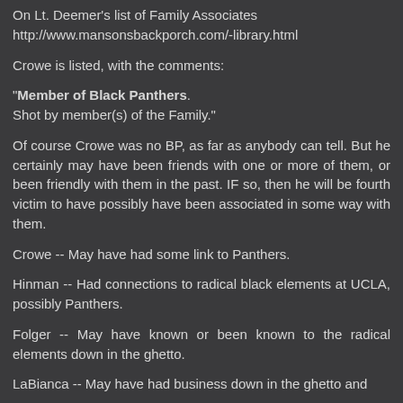On Lt. Deemer's list of Family Associates
http://www.mansonsbackporch.com/-library.html
Crowe is listed, with the comments:
"Member of Black Panthers. Shot by member(s) of the Family."
Of course Crowe was no BP, as far as anybody can tell. But he certainly may have been friends with one or more of them, or been friendly with them in the past. IF so, then he will be fourth victim to have possibly have been associated in some way with them.
Crowe -- May have had some link to Panthers.
Hinman -- Had connections to radical black elements at UCLA, possibly Panthers.
Folger -- May have known or been known to the radical elements down in the ghetto.
LaBianca -- May have had business down in the ghetto and